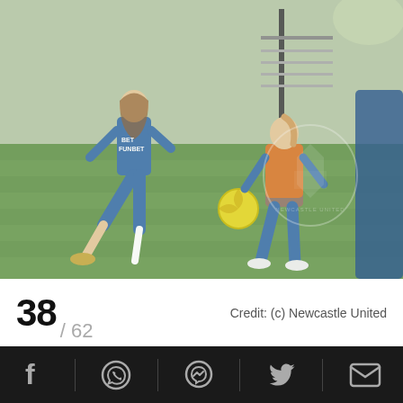[Figure (photo): Newcastle United women players training on a grass pitch. One player in blue kit is kicking a yellow ball, another player in blue with orange bib is in a defensive stance. Newcastle United crest watermark visible on the photo.]
38 / 62   Credit: (c) Newcastle United
Social share icons: Facebook, WhatsApp, Messenger, Twitter, Email